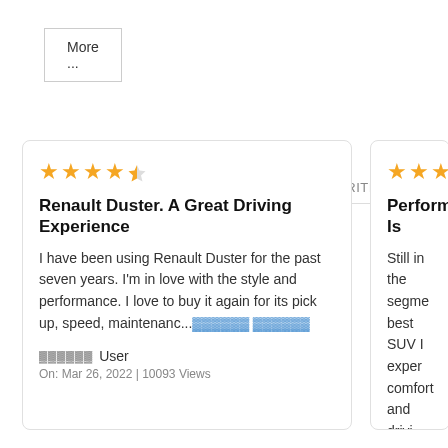More ...
▓▓▓▓▓▓▓▓▓   ▓▓▓▓▓▓▓▓▓   VERIFIED   CRITICAL
Renault Duster. A Great Driving Experience — I have been using Renault Duster for the past seven years. I'm in love with the style and performance. I love to buy it again for its pick up, speed, maintenanc... ▓▓▓▓▓▓ ▓▓▓▓▓▓ | ▓▓▓▓▓▓ User | On: Mar 26, 2022 | 10093 Views
Performance Is... Still in the segme... best SUV I exper... comfort and drivi... and great feature... the competitors o... ▓▓▓▓▓▓ ▓▓▓▓▓▓ | ▓▓▓▓▓▓ Arye Balpand... | On: Mar 03, 2022 | 84...